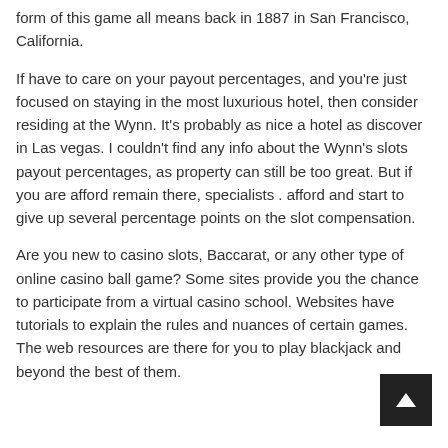form of this game all means back in 1887 in San Francisco, California.
If have to care on your payout percentages, and you're just focused on staying in the most luxurious hotel, then consider residing at the Wynn. It's probably as nice a hotel as discover in Las vegas. I couldn't find any info about the Wynn's slots payout percentages, as property can still be too great. But if you are afford remain there, specialists . afford and start to give up several percentage points on the slot compensation.
Are you new to casino slots, Baccarat, or any other type of online casino ball game? Some sites provide you the chance to participate from a virtual casino school. Websites have tutorials to explain the rules and nuances of certain games. The web resources are there for you to play blackjack and beyond the best of them.